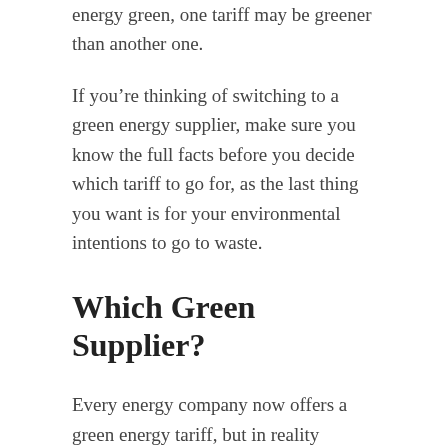energy green, one tariff may be greener than another one.
If you’re thinking of switching to a green energy supplier, make sure you know the full facts before you decide which tariff to go for, as the last thing you want is for your environmental intentions to go to waste.
Which Green Supplier?
Every energy company now offers a green energy tariff, but in reality ‘green’ can mean different things. It can mean that your supplier sources – or even produces itself – electricity from purely renewable types of energy generation. This